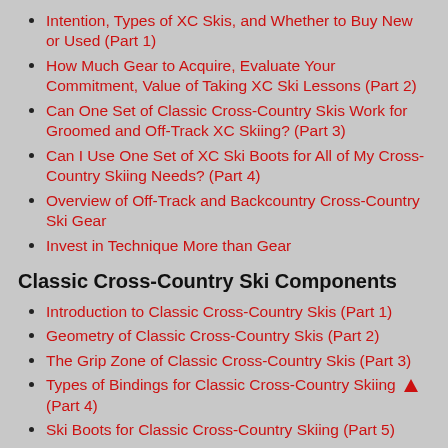Intention, Types of XC Skis, and Whether to Buy New or Used (Part 1)
How Much Gear to Acquire, Evaluate Your Commitment, Value of Taking XC Ski Lessons (Part 2)
Can One Set of Classic Cross-Country Skis Work for Groomed and Off-Track XC Skiing? (Part 3)
Can I Use One Set of XC Ski Boots for All of My Cross-Country Skiing Needs? (Part 4)
Overview of Off-Track and Backcountry Cross-Country Ski Gear
Invest in Technique More than Gear
Classic Cross-Country Ski Components
Introduction to Classic Cross-Country Skis (Part 1)
Geometry of Classic Cross-Country Skis (Part 2)
The Grip Zone of Classic Cross-Country Skis (Part 3)
Types of Bindings for Classic Cross-Country Skiing (Part 4)
Ski Boots for Classic Cross-Country Skiing (Part 5)